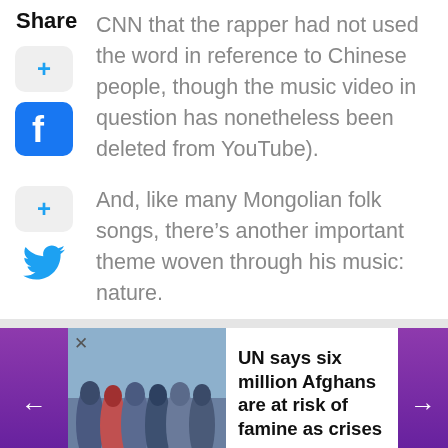Share
CNN that the rapper had not used the word in reference to Chinese people, though the music video in question has nonetheless been deleted from YouTube).
And, like many Mongolian folk songs, there’s another important theme woven through his music: nature.
UN says six million Afghans are at risk of famine as crises grow
←
→